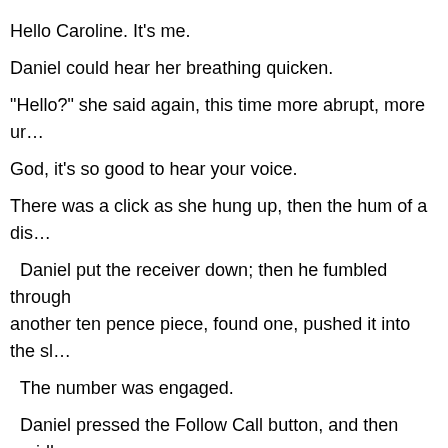Hello Caroline. It's me.
Daniel could hear her breathing quicken.
"Hello?" she said again, this time more abrupt, more ur…
God, it's so good to hear your voice.
There was a click as she hung up, then the hum of a dis…
Daniel put the receiver down; then he fumbled through another ten pence piece, found one, pushed it into the sl…
The number was engaged.
Daniel pressed the Follow Call button, and then rapidly…
Still engaged.
She's taken it off the hook, he realised and replaced the… in the end.
And, as always, after that one word, the simple greeting…